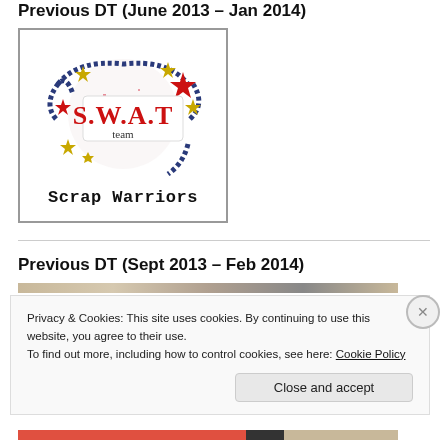Previous DT (June 2013 – Jan 2014)
[Figure (logo): SWAT Team / Scrap Warriors logo with stars and decorative swirls in red, navy blue and gold, with text 'Scrap Warriors' below in monospace font]
Previous DT (Sept 2013 – Feb 2014)
Privacy & Cookies: This site uses cookies. By continuing to use this website, you agree to their use.
To find out more, including how to control cookies, see here: Cookie Policy
Close and accept